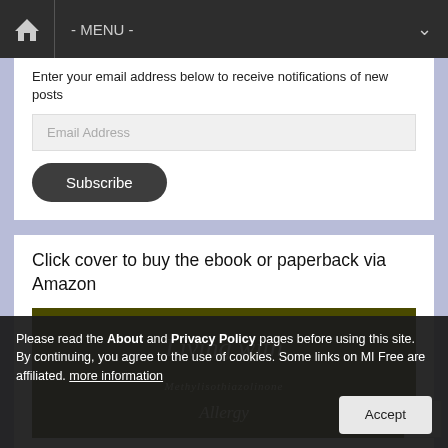- MENU -
Enter your email address below to receive notifications of new posts
Email Address
Subscribe
Click cover to buy the ebook or paperback via Amazon
[Figure (illustration): Book cover with dark olive green background showing text 'Living with Methylisothiazolinone Allergy']
Please read the About and Privacy Policy pages before using this site. By continuing, you agree to the use of cookies. Some links on MI Free are affiliated. more information Accept